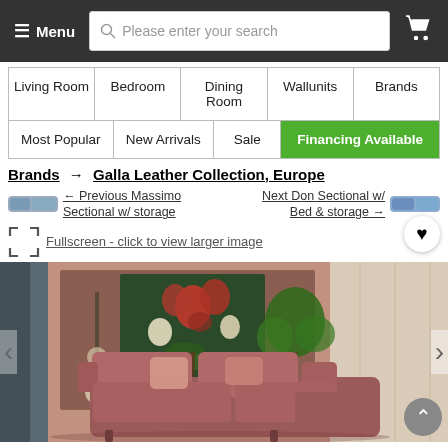Menu | Please enter your search | Cart
| Living Room | Bedroom | Dining Room | Wallunits | Brands |
| Most Popular | New Arrivals | Sale | Financing Available |
Brands → Galla Leather Collection, Europe
← Previous Massimo Sectional w/ storage
Next Don Sectional w/ Bed & storage →
Fullscreen - click to view larger image
[Figure (photo): A mauve/dusty rose sectional sofa with throw pillows in a styled room with a floral painting on a dark background wall, a floor lamp, and tropical plant.]